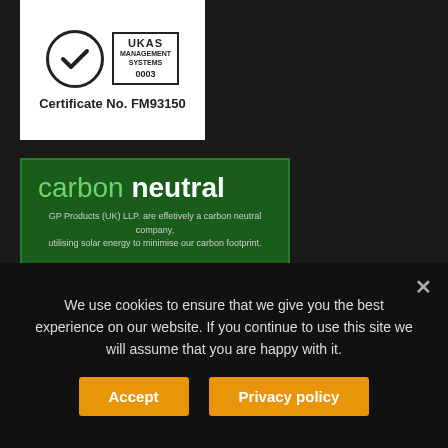[Figure (logo): Certification logo block showing a checkmark circle badge and UKAS Management Systems 0003 box, with text Certificate No. FM93150]
[Figure (logo): Green carbon neutral badge stating: carbon neutral. GP Products (UK) LLP are effectively a carbon neutral company, utilising solar energy to minimise our carbon footprint.]
☎ 01903 723 428
✉ sales@gpproducts.uk
We use cookies to ensure that we give you the best experience on our website. If you continue to use this site we will assume that you are happy with it.